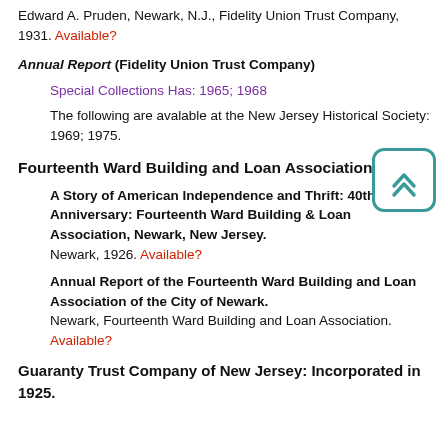Edward A. Pruden, Newark, N.J., Fidelity Union Trust Company, 1931. Available?
Annual Report (Fidelity Union Trust Company)
Special Collections Has: 1965; 1968
The following are avalable at the New Jersey Historical Society: 1969; 1975.
Fourteenth Ward Building and Loan Association
A Story of American Independence and Thrift: 40th Anniversary: Fourteenth Ward Building & Loan Association, Newark, New Jersey. Newark, 1926. Available?
Annual Report of the Fourteenth Ward Building and Loan Association of the City of Newark. Newark, Fourteenth Ward Building and Loan Association. Available?
Guaranty Trust Company of New Jersey: Incorporated in 1925.